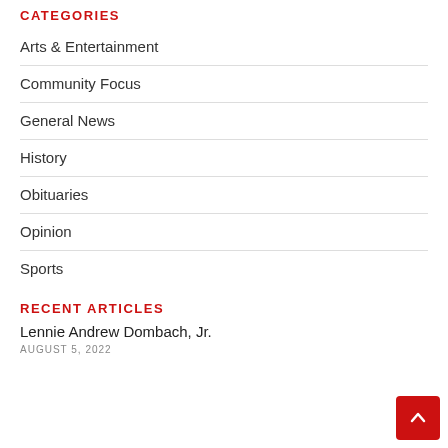CATEGORIES
Arts & Entertainment
Community Focus
General News
History
Obituaries
Opinion
Sports
RECENT ARTICLES
Lennie Andrew Dombach, Jr.
AUGUST 5, 2022